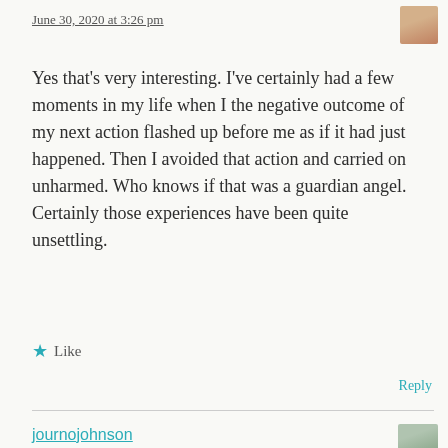June 30, 2020 at 3:26 pm
Yes that's very interesting. I've certainly had a few moments in my life when I the negative outcome of my next action flashed up before me as if it had just happened. Then I avoided that action and carried on unharmed. Who knows if that was a guardian angel. Certainly those experiences have been quite unsettling.
★ Like
Reply
journojohnson
June 30, 2020 at 8:57 am